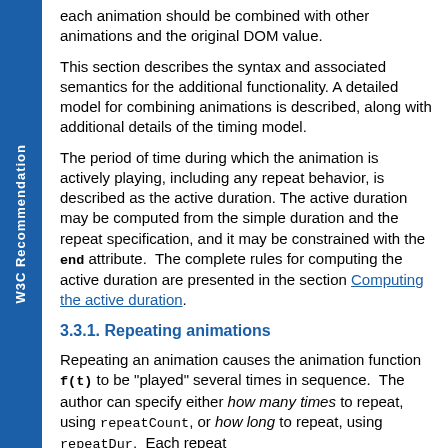W3C Recommendation
each animation should be combined with other animations and the original DOM value.
This section describes the syntax and associated semantics for the additional functionality. A detailed model for combining animations is described, along with additional details of the timing model.
The period of time during which the animation is actively playing, including any repeat behavior, is described as the active duration. The active duration may be computed from the simple duration and the repeat specification, and it may be constrained with the end attribute.  The complete rules for computing the active duration are presented in the section Computing the active duration.
3.3.1. Repeating animations
Repeating an animation causes the animation function f(t) to be "played" several times in sequence.  The author can specify either how many times to repeat, using repeatCount, or how long to repeat, using repeatDur.  Each repeat